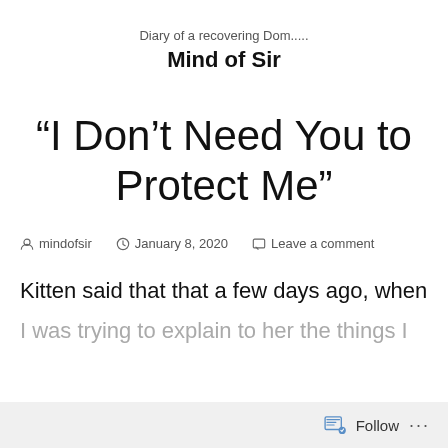Diary of a recovering Dom.....
Mind of Sir
“I Don’t Need You to Protect Me”
mindofsir   January 8, 2020   Leave a comment
Kitten said that that a few days ago, when I was trying to explain to her the things I
Follow ...